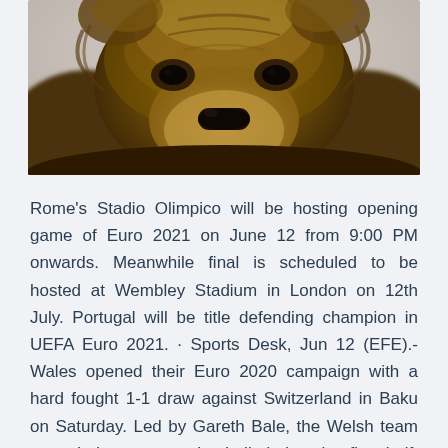[Figure (photo): Close-up photograph of a brown bear's face, showing thick dark brown fur, small dark eyes, and a short snout. The bear appears to be looking downward. Background is blurred light grey/white.]
Rome's Stadio Olimpico will be hosting opening game of Euro 2021 on June 12 from 9:00 PM onwards. Meanwhile final is scheduled to be hosted at Wembley Stadium in London on 12th July. Portugal will be title defending champion in UEFA Euro 2021. · Sports Desk, Jun 12 (EFE).- Wales opened their Euro 2020 campaign with a hard fought 1-1 draw against Switzerland in Baku on Saturday. Led by Gareth Bale, the Welsh team struggled to get on the ball during the first half, although